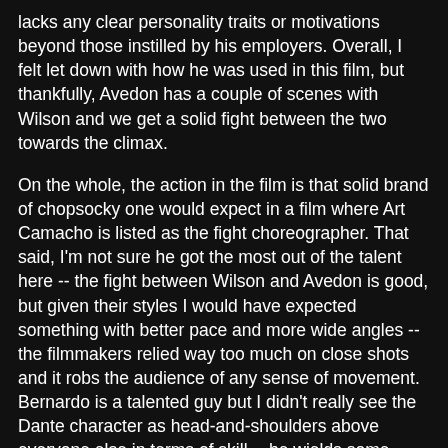lacks any clear personality traits or motivations beyond those instilled by his employers. Overall, I felt let down with how he was used in this film, but thankfully, Avedon has a couple of scenes with Wilson and we get a solid fight between the two towards the climax.

On the whole, the action in the film is that solid brand of chopsocky one would expect in a film where Art Camacho is listed as the fight choreographer. That said, I'm not sure he got the most out of the talent here -- the fight between Wilson and Avedon is good, but given their styles I would have expected something with better pace and more wide angles -- the filmmakers relied way too much on close shots and it robs the audience of any sense of movement. Bernardo is a talented guy but I didn't really see the Dante character as head-and-shoulders above everyone else in terms of skill -- he wields some limb-regeneration trickery straight from the T-1000 toolkit -- but if we're to believe that he's a VR program capable of learning the tendencies of its opponents, he needed to seem more invincible and adaptable. (And how David throws a glitch in the Dante matrix is head-scratching). All that said, this film gave me